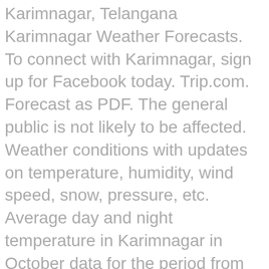Karimnagar, Telangana Karimnagar Weather Forecasts. To connect with Karimnagar, sign up for Facebook today. Trip.com. Forecast as PDF. The general public is not likely to be affected. Weather conditions with updates on temperature, humidity, wind speed, snow, pressure, etc. Average day and night temperature in Karimnagar in October data for the period from 2012 to 2012 years. MeteoTrend: Weather in Karimnagar for today, tomorrow and week. Hyderabad Floods. See the links below the 12-day Karimnagar weather forecast table for other cities and towns nearby along with weather conditions for local outdoor activities. Read the air pollution in Karimnagar, India with AirVisual. Karimnagar weather: find free weather forecasts for Karimnagar with weather outlooks, temperatures, wind speed and humidity figures. Average day and night temperature in Karimnagar in September data for the period from 2012 to 2012 years. Approx. Sydney - Observatory Hill. Number of cloudy and clear days, atmospheric pressure and wind speed. Today Nov 25th: Thursday Nov 26th: Friday Nov